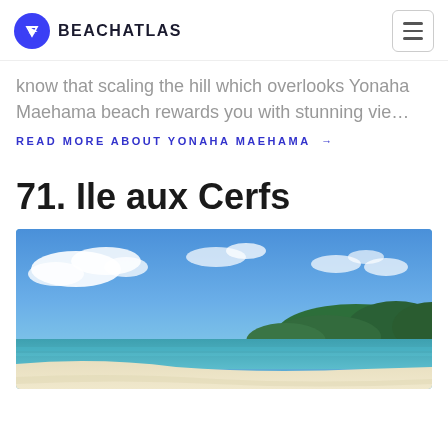BEACHATLAS
know that scaling the hill which overlooks Yonaha Maehama beach rewards you with stunning vie…
READ MORE ABOUT YONAHA MAEHAMA →
71. Ile aux Cerfs
[Figure (photo): Tropical beach scene showing white sand, turquoise water, lush green tropical trees on the right side, blue sky with white clouds]